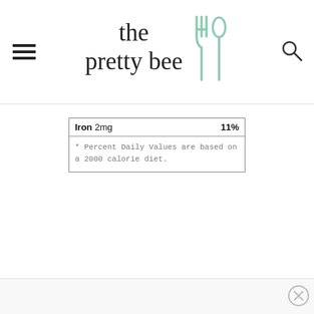the pretty bee
| Nutrient | % Daily Value |
| --- | --- |
| Iron 2mg | 11% |
* Percent Daily Values are based on a 2000 calorie diet.